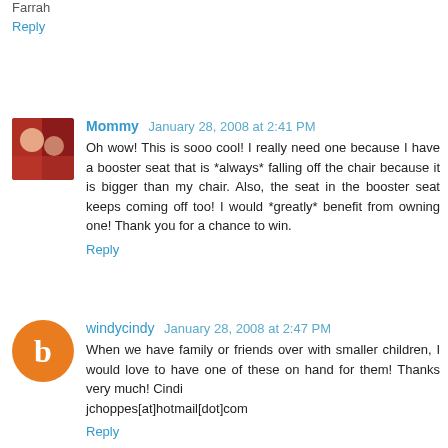Farrah
Reply
Mommy  January 28, 2008 at 2:41 PM
Oh wow! This is sooo cool! I really need one because I have a booster seat that is *always* falling off the chair because it is bigger than my chair. Also, the seat in the booster seat keeps coming off too! I would *greatly* benefit from owning one! Thank you for a chance to win.
Reply
windycindy  January 28, 2008 at 2:47 PM
When we have family or friends over with smaller children, I would love to have one of these on hand for them! Thanks very much! Cindi
jchoppes[at]hotmail[dot]com
Reply